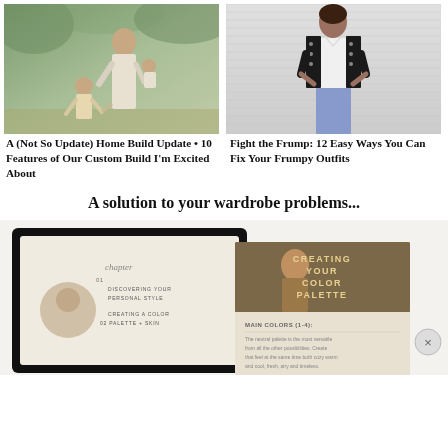[Figure (photo): Woman in white dress holding a baby, with a young child beside her, outdoors in a green setting]
[Figure (photo): Woman in a black and white patterned cardigan over a white shirt, wearing jeans, posing in front of a white brick wall]
A (Not So Update) Home Build Update • 10 Features of Our Custom Build I'm Excited About
Fight the Frump: 12 Easy Ways You Can Fix Your Frumpy Outfits
A solution to your wardrobe problems...
[Figure (photo): A promotional image featuring a tablet displaying a style guide with chapters on Discovering Your Personal Style and Creating a Color Palette, alongside a booklet titled Creating Your Color Palette with sections on main colors]